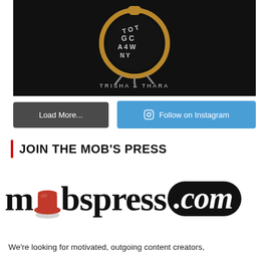[Figure (photo): Dark promotional movie poster image showing a clock with letters on its face. Text reads 'TRISHA & THARA' at the bottom.]
Load More...
Follow on Instagram
JOIN THE MOB'S PRESS
[Figure (logo): mobspress.com logo with a red fedora hat replacing the letter 'o' in mob, and .com in a black rounded rectangle with white italic text]
We're looking for motivated, outgoing content creators,